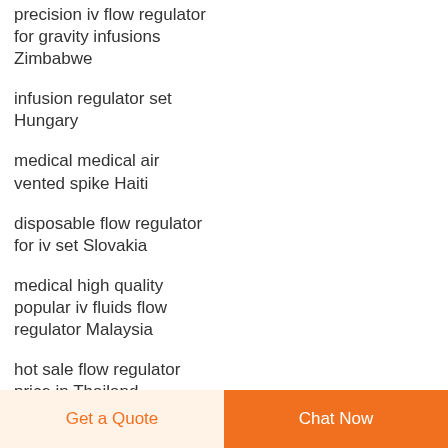precision iv flow regulator for gravity infusions Zimbabwe
infusion regulator set Hungary
medical medical air vented spike Haiti
disposable flow regulator for iv set Slovakia
medical high quality popular iv fluids flow regulator Malaysia
hot sale flow regulator price in Thailand